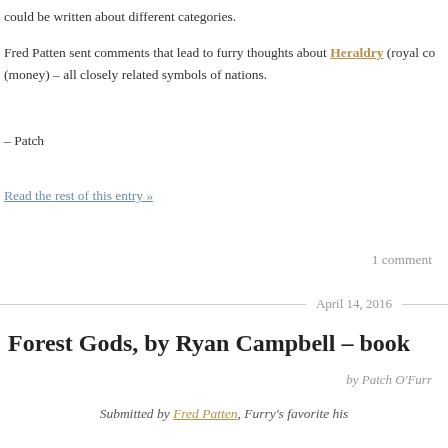could be written about different categories.
Fred Patten sent comments that lead to furry thoughts about Heraldry (royal co (money) – all closely related symbols of nations.
– Patch
Read the rest of this entry »
1 comment
April 14, 2016
Forest Gods, by Ryan Campbell – book
by Patch O'Furr
Submitted by Fred Patten, Furry's favorite his